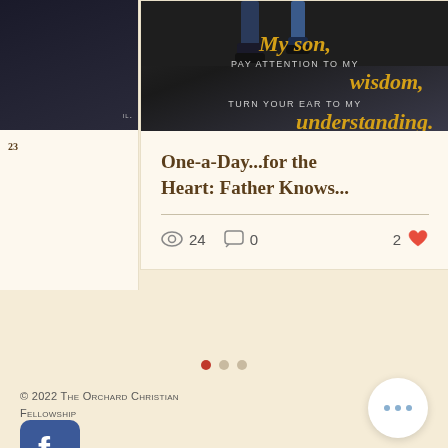[Figure (photo): Scripture verse image showing legs/feet walking on ground with text overlay: 'My son, PAY ATTENTION TO MY wisdom, TURN YOUR EAR TO MY understanding.' styled with gold italic font on dark background]
One-a-Day...for the Heart: Father Knows...
24 views  0 comments  2 likes
[Figure (infographic): Three pagination dots: one red (active), two gray (inactive)]
© 2022 THE ORCHARD CHRISTIAN FELLOWSHIP
[Figure (logo): Facebook logo icon - blue rounded square with white 'f']
[Figure (other): More options button - white circle with three blue dots]